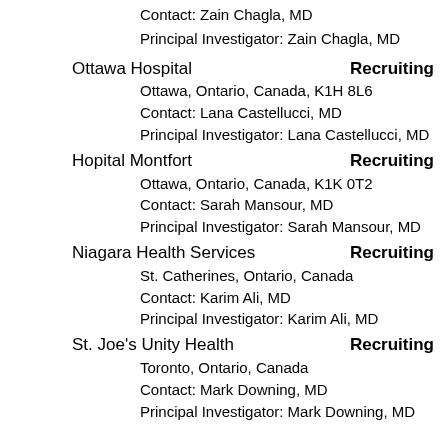Contact: Zain Chagla, MD
Principal Investigator: Zain Chagla, MD
Ottawa Hospital    Recruiting
Ottawa, Ontario, Canada, K1H 8L6
Contact: Lana Castellucci, MD
Principal Investigator: Lana Castellucci, MD
Hopital Montfort    Recruiting
Ottawa, Ontario, Canada, K1K 0T2
Contact: Sarah Mansour, MD
Principal Investigator: Sarah Mansour, MD
Niagara Health Services    Recruiting
St. Catherines, Ontario, Canada
Contact: Karim Ali, MD
Principal Investigator: Karim Ali, MD
St. Joe's Unity Health    Recruiting
Toronto, Ontario, Canada
Contact: Mark Downing, MD
Principal Investigator: Mark Downing, MD